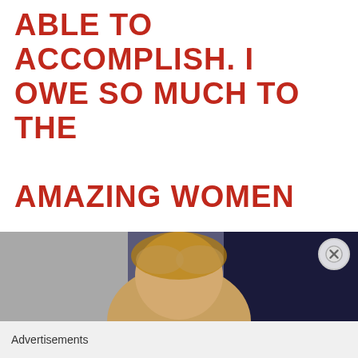ABLE TO ACCOMPLISH. I OWE SO MUCH TO THE AMAZING WOMEN THAT CAME BEFORE ME.
[Figure (photo): Partial photo of a woman with blonde/brown hair, cropped at the top of the frame]
Advertisements